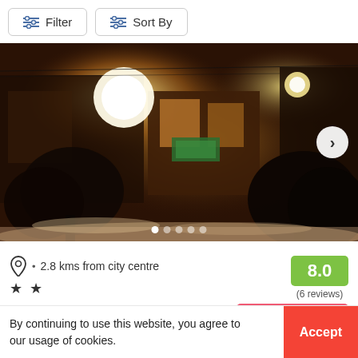[Figure (screenshot): Filter and Sort By buttons at top of a hotel/accommodation listing page]
[Figure (photo): Nighttime winter street scene with snow on the ground, warm orange lighting from a building, large bright lamp post light, and silhouettes of snow-covered trees or bushes in the foreground]
2.8 kms from city centre
★ ★
8.0
(6 reviews)
$29 onwards
By continuing to use this website, you agree to our usage of cookies.